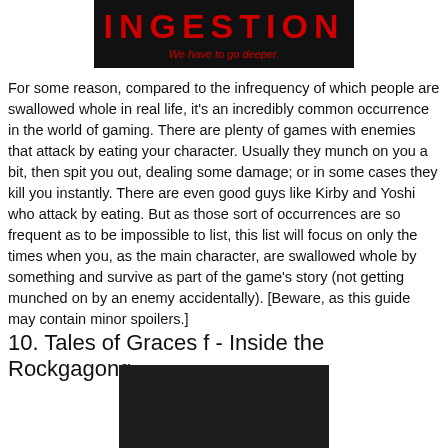[Figure (logo): INGESTION logo: black background with red bold text 'INGESTION' and red subtitle 'We have to go deeper.']
For some reason, compared to the infrequency of which people are swallowed whole in real life, it's an incredibly common occurrence in the world of gaming. There are plenty of games with enemies that attack by eating your character. Usually they munch on you a bit, then spit you out, dealing some damage; or in some cases they kill you instantly. There are even good guys like Kirby and Yoshi who attack by eating. But as those sort of occurrences are so frequent as to be impossible to list, this list will focus on only the times when you, as the main character, are swallowed whole by something and survive as part of the game's story (not getting munched on by an enemy accidentally). [Beware, as this guide may contain minor spoilers.]
10. Tales of Graces f - Inside the Rockgagong
[Figure (screenshot): Dark screenshot image, mostly black/very dark, from Tales of Graces f game.]